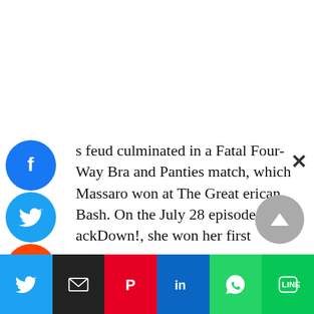s feud culminated in a Fatal Four-Way Bra and Panties match, which Massaro won at The Great erican Bash. On the July 28 episode of ackDown!, she won her first singles bout, eating Hall by illegally utilising the ropes as rage. Soon after, she began working as a valet for K. C. James and Idol Stevens' squad, which was ed The Teacher's Pets as a result of her relationship with them. The three began a feud for WWE Tag Team Championship with Paul don and Brian Kendrick, as well as their valet
[Figure (infographic): Social media share buttons sidebar (Facebook, Twitter, Reddit, LinkedIn, Pinterest, MeWe) and bottom share bar (Twitter, Email, Pinterest, LinkedIn, WhatsApp, Line)]